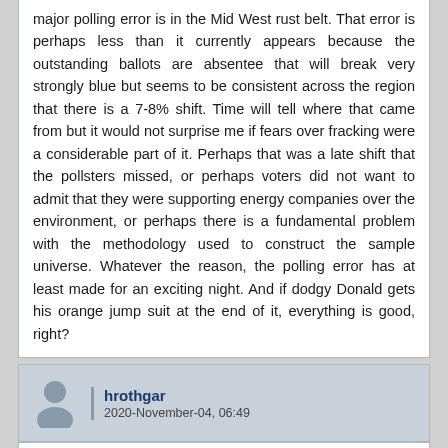major polling error is in the Mid West rust belt. That error is perhaps less than it currently appears because the outstanding ballots are absentee that will break very strongly blue but seems to be consistent across the region that there is a 7-8% shift. Time will tell where that came from but it would not surprise me if fears over fracking were a considerable part of it. Perhaps that was a late shift that the pollsters missed, or perhaps voters did not want to admit that they were supporting energy companies over the environment, or perhaps there is a fundamental problem with the methodology used to construct the sample universe. Whatever the reason, the polling error has at least made for an exciting night. And if dodgy Donald gets his orange jump suit at the end of it, everything is good, right?
hrothgar
2020-November-04, 06:49
Zelandakh, on 2020-November-04, 06:21, said:
And if dodgy Donald gets his orange jump suit at the end of it, everything is good, right?